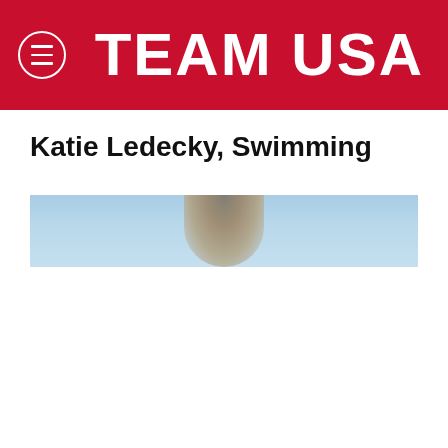TEAM USA
Katie Ledecky, Swimming
[Figure (photo): Partially visible photo of Katie Ledecky against a blue sky background, heavily cropped showing just the top of the head/cap area]